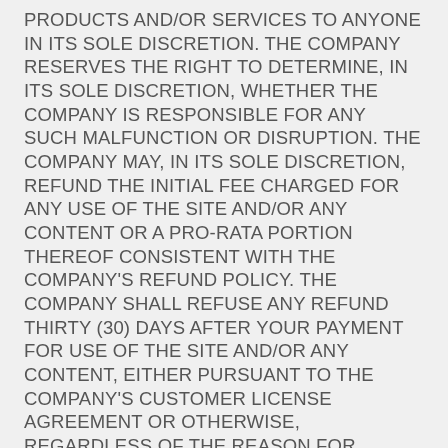PRODUCTS AND/OR SERVICES TO ANYONE IN ITS SOLE DISCRETION. THE COMPANY RESERVES THE RIGHT TO DETERMINE, IN ITS SOLE DISCRETION, WHETHER THE COMPANY IS RESPONSIBLE FOR ANY SUCH MALFUNCTION OR DISRUPTION. THE COMPANY MAY, IN ITS SOLE DISCRETION, REFUND THE INITIAL FEE CHARGED FOR ANY USE OF THE SITE AND/OR ANY CONTENT OR A PRO-RATA PORTION THEREOF CONSISTENT WITH THE COMPANY'S REFUND POLICY. THE COMPANY SHALL REFUSE ANY REFUND THIRTY (30) DAYS AFTER YOUR PAYMENT FOR USE OF THE SITE AND/OR ANY CONTENT, EITHER PURSUANT TO THE COMPANY'S CUSTOMER LICENSE AGREEMENT OR OTHERWISE, REGARDLESS OF THE REASON FOR DISRUPTION.
11. IN NO EVENT SHALL THE COMPANY BE LIABLE FOR ANY SPECIAL, INDIRECT, DIRECT, PUNITIVE...